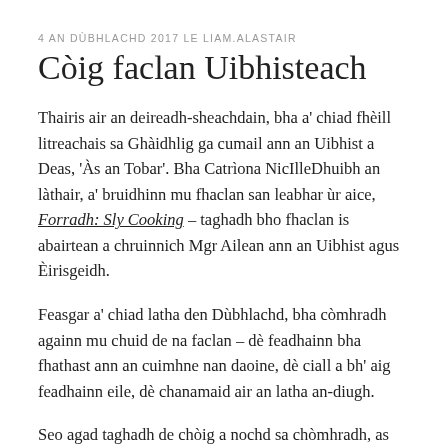4 AN DÙBHLACHD 2017 LE LIAM.ALASTAIR
Còig faclan Uibhisteach
Thairis air an deireadh-sheachdain, bha a' chiad fhèill litreachais sa Ghàidhlig ga cumail ann an Uibhist a Deas, 'Às an Tobar'. Bha Catrìona NicIlleDhuibh an làthair, a' bruidhinn mu fhaclan san leabhar ùr aice, Forradh: Sly Cooking – taghadh bho fhaclan is abairtean a chruinnich Mgr Ailean ann an Uibhist agus Èirisgeidh.
Feasgar a' chiad latha den Dùbhlachd, bha còmhradh againn mu chuid de na faclan – dè feadhainn bha fhathast ann an cuimhne nan daoine, dè ciall a bh' aig feadhainn eile, dè chanamaid air an latha an-diugh.
Seo agad taghadh de chòig a nochd sa chòmhradh, as urrainn dhut cur ris a' bhriathrachas agad. Gàidhlig ghlan Uibhisteach a th' ann.